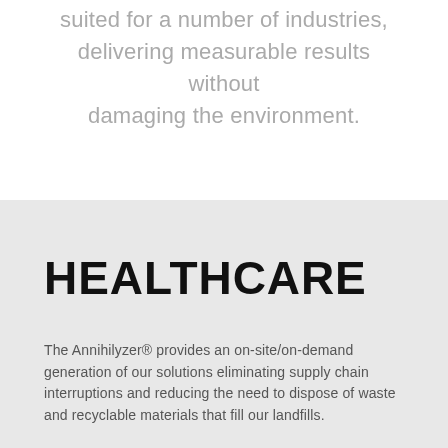suited for a number of industries, delivering measurable results without damaging the environment.
HEALTHCARE
The Annihilyzer® provides an on-site/on-demand generation of our solutions eliminating supply chain interruptions and reducing the need to dispose of waste and recyclable materials that fill our landfills.